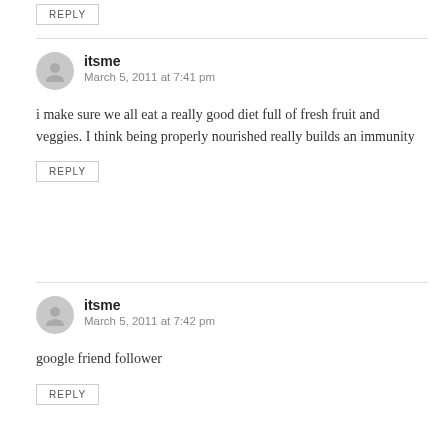REPLY
itsme
March 5, 2011 at 7:41 pm
i make sure we all eat a really good diet full of fresh fruit and veggies. I think being properly nourished really builds an immunity
REPLY
itsme
March 5, 2011 at 7:42 pm
google friend follower
REPLY